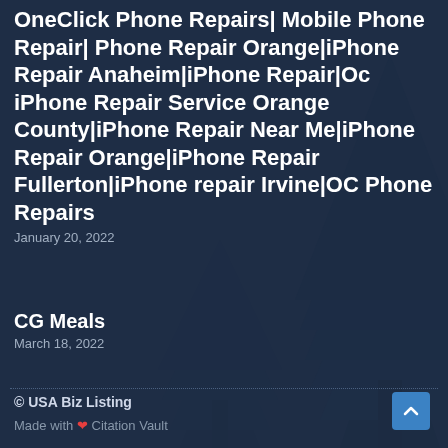OneClick Phone Repairs| Mobile Phone Repair| Phone Repair Orange|iPhone Repair Anaheim|iPhone Repair|Oc iPhone Repair Service Orange County|iPhone Repair Near Me|iPhone Repair Orange|iPhone Repair Fullerton|iPhone repair Irvine|OC Phone Repairs
January 20, 2022
CG Meals
March 18, 2022
© USA Biz Listing
Made with ❤ Citation Vault